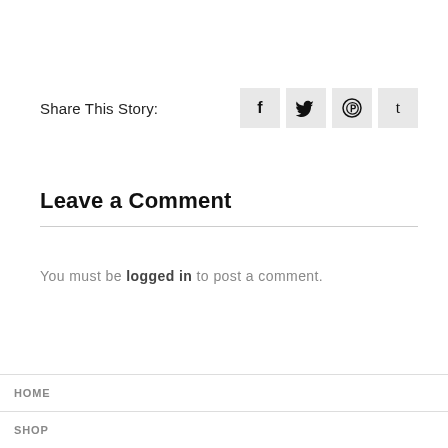Share This Story:
[Figure (infographic): Social share icons for Facebook (f), Twitter (bird), Pinterest (p circle), and Tumblr (t) as gray square buttons]
Leave a Comment
You must be logged in to post a comment.
HOME
SHOP